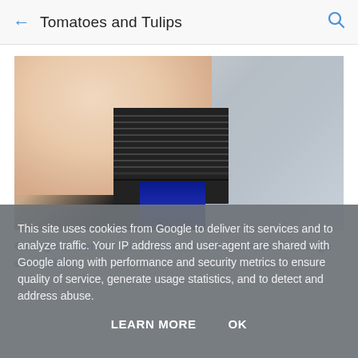← Tomatoes and Tulips 🔍
[Figure (photo): A hand holding a small blue essential oil bottle with a black ribbed cap, placed on a patterned tablecloth background.]
Orange Essential Oil : What are the benefits of orange essential
This site uses cookies from Google to deliver its services and to analyze traffic. Your IP address and user-agent are shared with Google along with performance and security metrics to ensure quality of service, generate usage statistics, and to detect and address abuse.
LEARN MORE    OK